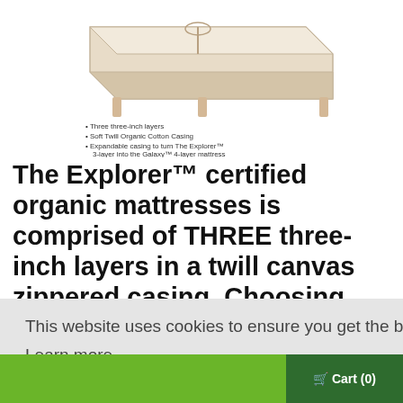[Figure (photo): Product image of The Explorer mattress on wooden legs with a cream/beige fabric cover, viewed from a slight angle. Below the mattress image are bullet points listing features.]
Three three-inch layers
Soft Twill Organic Cotton Casing
Expandable casing to turn The Explorer™ 3-layer into the Galaxy™ 4-layer mattress
The Explorer™ certified organic mattresses is comprised of THREE three-inch layers in a twill canvas zippered casing. Choosing the expandable casing option allows you to  add one more layer at any time and turn The Explorer™
This website uses cookies to ensure you get the best experience on our website.
Learn more
Got it!
Cart (0)
THE DREAM TRAIN - 2 LA